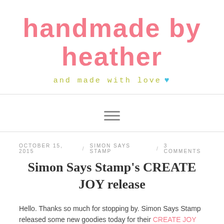handmade by heather
and made with love 💙
[Figure (other): Hamburger menu icon with three horizontal lines]
OCTOBER 15, 2015 / SIMON SAYS STAMP / 3 COMMENTS
Simon Says Stamp's CREATE JOY release
Hello. Thanks so much for stopping by. Simon Says Stamp released some new goodies today for their CREATE JOY